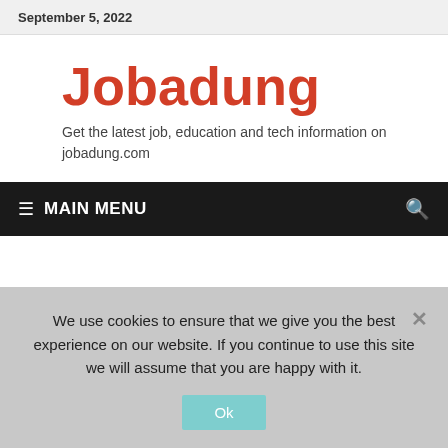September 5, 2022
Jobadung
Get the latest job, education and tech information on jobadung.com
MAIN MENU
We use cookies to ensure that we give you the best experience on our website. If you continue to use this site we will assume that you are happy with it.